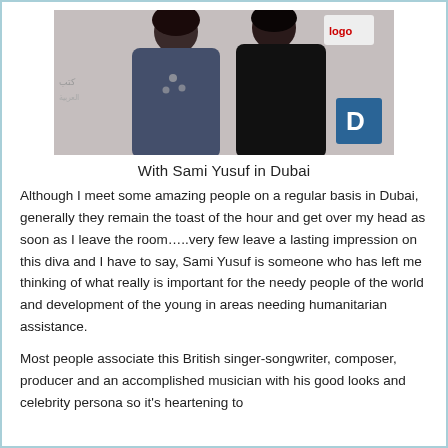[Figure (photo): Two people standing together posing for a photo, likely at an event with logos in the background. One person is wearing a blue/grey top with a necklace, the other is in dark clothing.]
With Sami Yusuf in Dubai
Although I meet some amazing people on a regular basis in Dubai, generally they remain the toast of the hour and get over my head as soon as I leave the room…..very few leave a lasting impression on this diva and I have to say, Sami Yusuf is someone who has left me thinking of what really is important for the needy people of the world and development of the young in areas needing humanitarian assistance.
Most people associate this British singer-songwriter, composer, producer and an accomplished musician with his good looks and celebrity persona so it's heartening to